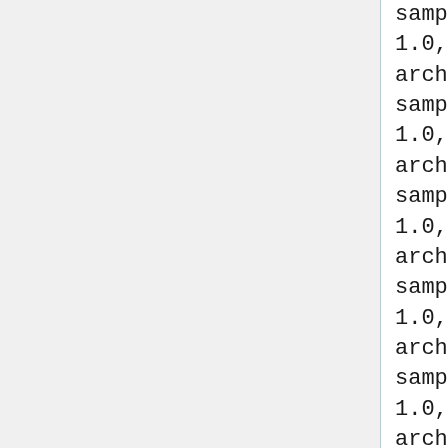sample.Target
1.0,http://robocode-archive.strangeautomata.com/rob
sample.Tracker
1.0,http://robocode-archive.strangeautomata.com/rob
sample.TrackFire
1.0,http://robocode-archive.strangeautomata.com/rob
sample.VelociRobot
1.0,http://robocode-archive.strangeautomata.com//ro
sample.Walls
1.0,http://robocode-archive.strangeautomata.com/rob
sanja.First
0.1,https://docs.google.com/uc?export=download&id=0BwXl8v4PYCl
sanyi.mikrobi.Roberto
1.0,http://robocode-archive.strangeautomata.com/rob
satan.R0
0.2,http://robocode-archive.strangeautomata.com/rob
satan.White